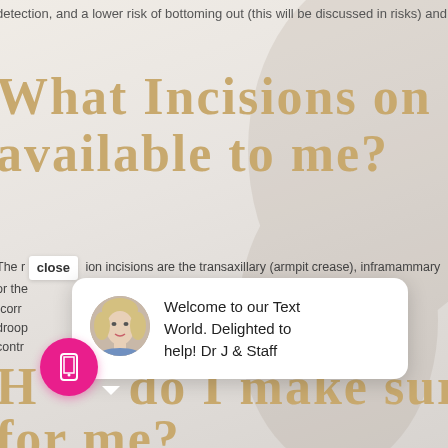detection, and a lower risk of bottoming out (this will be discussed in risks) and
What Incisions on my br
available to me?
The r [close] ion incisions are the transaxillary (armpit crease), inframammary
or the ference. Sometimes the
"corr incision particularly fo
droop A operation which is thr
contr Dr. Jacobsen uses the a
[Figure (screenshot): Chat popup with avatar photo of blonde woman, message: 'Welcome to our Text World. Delighted to help! Dr J & Staff']
Ho do I make sure ^ na
for me?